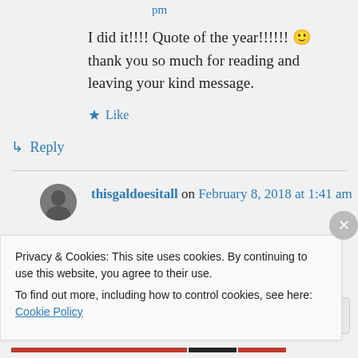pm
I did it!!!! Quote of the year!!!!!! 🙂 thank you so much for reading and leaving your kind message.
★ Like
↳ Reply
thisgaldoesitall on February 8, 2018 at 1:41 am
Privacy & Cookies: This site uses cookies. By continuing to use this website, you agree to their use.
To find out more, including how to control cookies, see here: Cookie Policy